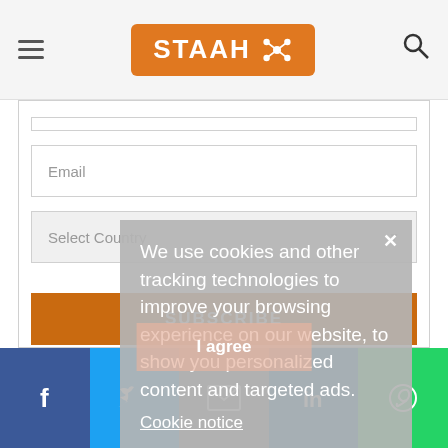STAAH — navigation header with hamburger menu, STAAH logo, and search icon
[Figure (screenshot): Form with Email input field and Select Country dropdown, and a SUBSCRIBE button]
[Figure (screenshot): Cookie consent overlay: 'We use cookies and other tracking technologies to improve your browsing experience on our website, to show you personalized content and targeted ads. Cookie notice' with close X button and I agree button]
Social share bar: Facebook, Twitter, Email, LinkedIn, WhatsApp